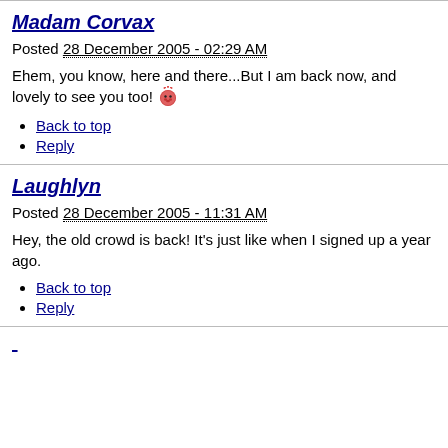Madam Corvax
Posted 28 December 2005 - 02:29 AM
Ehem, you know, here and there...But I am back now, and lovely to see you too! [emoji]
Back to top
Reply
Laughlyn
Posted 28 December 2005 - 11:31 AM
Hey, the old crowd is back! It's just like when I signed up a year ago.
Back to top
Reply